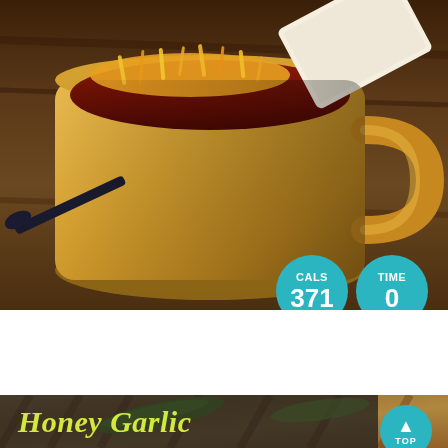[Figure (photo): A large yellow/tan ceramic mug filled with chili topped with shredded cheese and a piece of bread, on a dark wood surface with a spoon]
CALS 371
TIME 0
★★★★☆ (946 ratings)
15-Minute Chili
[Figure (photo): Grilled meat with green onion garnish, partially visible at bottom of page with 'Honey Garlic' text overlay]
Honey Garlic